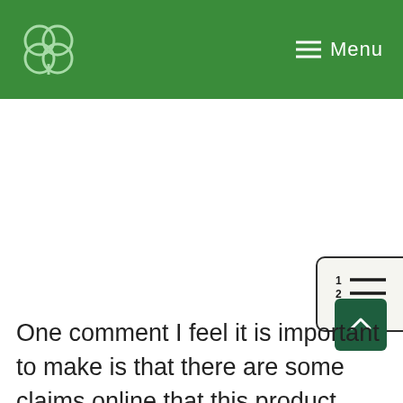Menu
[Figure (other): Table of contents widget icon showing numbered list (1 2 3) with lines, positioned at right edge of page]
One comment I feel it is important to make is that there are some claims online that this product supports the plant during rooting, but